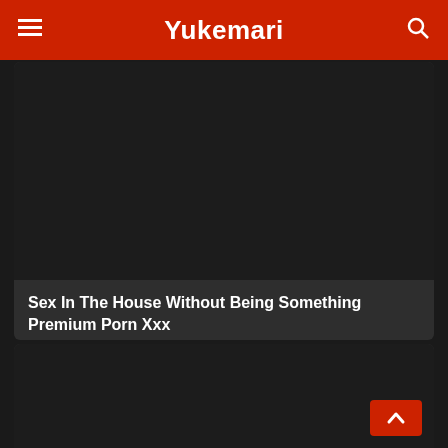Yukemari
[Figure (screenshot): Dark thumbnail image area for article]
Sex In The House Without Being Something Premium Porn Xxx
View the xxx porn article: Sex In The House Without Being Something Premium Porn Xxx, XXX Lesbian Articles. On your favorite porn news site YUKEMARI.INFO!
76 Views · Likes 0
[Figure (screenshot): Dark thumbnail image area for second article card]